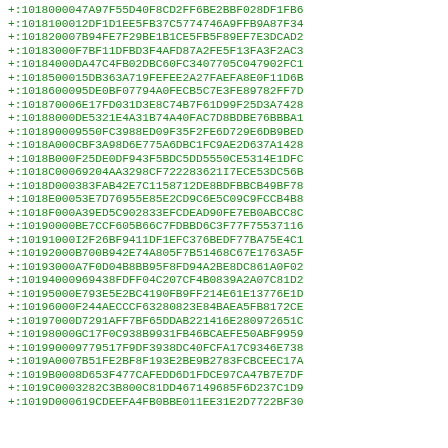+:1018000047A97F55D40F8CD2FF6BE2BBF028DF1FB6
+:1018100012DF1D1EE5FB37C5774746A9FFB9A87F34
+:101820007B94FE7F29BE1B1CE5FB5F89EF7E3DCAD2
+:10183000F7BF11DFBD3F4AFD87A2FE5F13FA3F2AC3
+:10184000DA47C4FB02DBC60FC3407705C047902FC1
+:1018500015DB363A719FEFEE2A27FAEFA8E0F11D6B
+:1018600095DE0BF07794A0FECB5C7E3FE89782FF7D
+:101870006E17FD031D3E8C74B7F61D99F25D3A7428
+:10188000DE5321E4A31B74A40FAC7D8BDBE76BBBA1
+:101890009550FC3988ED09F35F2FE6D729E6DB9BED
+:1018A000CBF3A98D6E775A6DBC1FC9AE2D637A1428
+:1018B000F25DE0DF943F5BDC5DD5550CE5314E1DFC
+:1018C00069204AA3298CF722283621I7ECE53DC56B
+:1018D000383FAB42E7C1158712DE8BDFBBCB49BF78
+:1018E00053E7D76955E85E2CD9C6E5C09C9FCCB4B8
+:1018F000A39ED5C902833EFCDEAD90FE7EB0ABCC8C
+:10190000BE7CCF605B66C7FDBBD6C3F77F75537116
+:10191000I2F26BF9411DF1EFC376BEDF77BA75E4C1
+:10192000B700B942E74A805F7B51468C67E1763A5F
+:10193000A7F0D04B8BB95F8FD94A2BE8DC861A0F02
+:10194000969438FDFF04C207CF4B0839A2A07C81D2
+:10195000E793E5E2BC4190FB9FF214E61E13776E1D
+:10196000F244AECCCF63280823E84BAEA5FB8172CE
+:10197000D7291AFF7BF65DDAB221416E280972651C
+:10198000GC17F0C938B9931FB46BCAEFE50ABF9959
+:101990009779517F9DF3938DC40FCFA17C9346E738
+:1019A0007B51FE2BF8F193E2BE9B2783FCBCEEC17A
+:1019B0008D653F477CAFEDD6D1FDCE97CA47B7E7DF
+:1019C0003282C3B800C81DD467149685F6D237C1D9
+:1019D000619CDEEFA4FB0BBE011EE31E2D7722BF30